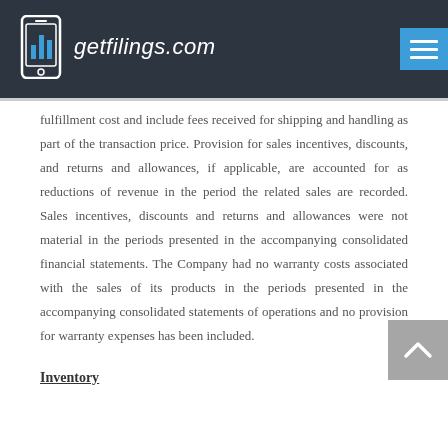getfilings.com
fulfillment cost and include fees received for shipping and handling as part of the transaction price. Provision for sales incentives, discounts, and returns and allowances, if applicable, are accounted for as reductions of revenue in the period the related sales are recorded. Sales incentives, discounts and returns and allowances were not material in the periods presented in the accompanying consolidated financial statements. The Company had no warranty costs associated with the sales of its products in the periods presented in the accompanying consolidated statements of operations and no provision for warranty expenses has been included.
Inventory